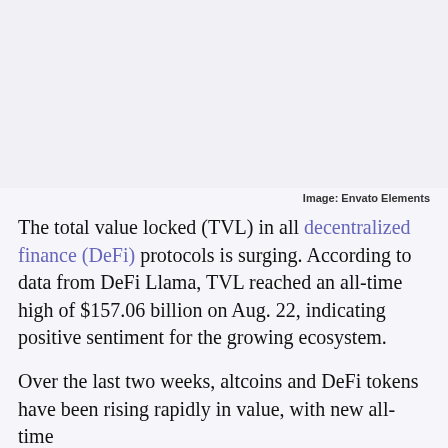[Figure (photo): Image placeholder area, light gray/blue background representing a photo of DeFi or financial content]
Image: Envato Elements
The total value locked (TVL) in all decentralized finance (DeFi) protocols is surging. According to data from DeFi Llama, TVL reached an all-time high of $157.06 billion on Aug. 22, indicating positive sentiment for the growing ecosystem.
Over the last two weeks, altcoins and DeFi tokens have been rising rapidly in value, with new all-time